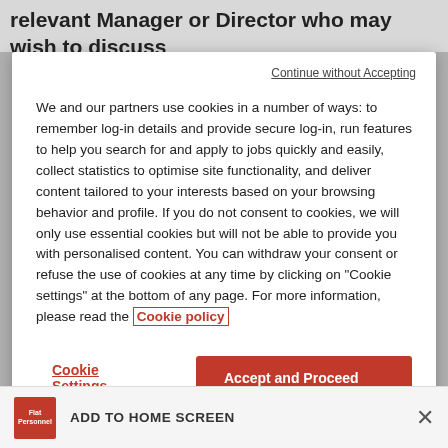relevant Manager or Director who may wish to discuss
Continue without Accepting
We and our partners use cookies in a number of ways: to remember log-in details and provide secure log-in, run features to help you search for and apply to jobs quickly and easily, collect statistics to optimise site functionality, and deliver content tailored to your interests based on your browsing behavior and profile. If you do not consent to cookies, we will only use essential cookies but will not be able to provide you with personalised content. You can withdraw your consent or refuse the use of cookies at any time by clicking on "Cookie settings" at the bottom of any page. For more information, please read the Cookie policy
Cookie Settings
Accept and Proceed
ADD TO HOME SCREEN